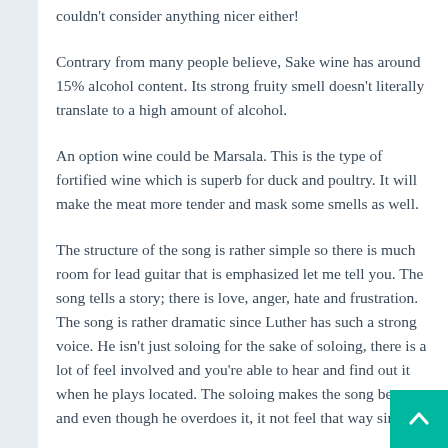couldn't consider anything nicer either!
Contrary from many people believe, Sake wine has around 15% alcohol content. Its strong fruity smell doesn't literally translate to a high amount of alcohol.
An option wine could be Marsala. This is the type of fortified wine which is superb for duck and poultry. It will make the meat more tender and mask some smells as well.
The structure of the song is rather simple so there is much room for lead guitar that is emphasized let me tell you. The song tells a story; there is love, anger, hate and frustration. The song is rather dramatic since Luther has such a strong voice. He isn't just soloing for the sake of soloing, there is a lot of feel involved and you're able to hear and find out it when he plays located. The soloing makes the song better and even though he overdoes it, it not feel that way since